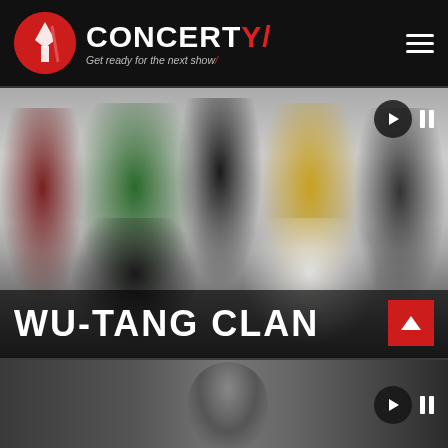CONCERTY - Get ready for the next show
[Figure (photo): Wu-Tang Clan group photo with multiple members posing together in casual/streetwear clothing against a light background. Play and pause controls visible top right.]
WU-TANG CLAN
[Figure (photo): Partial view of a second artist card showing a figure/silhouette with play controls on the right.]